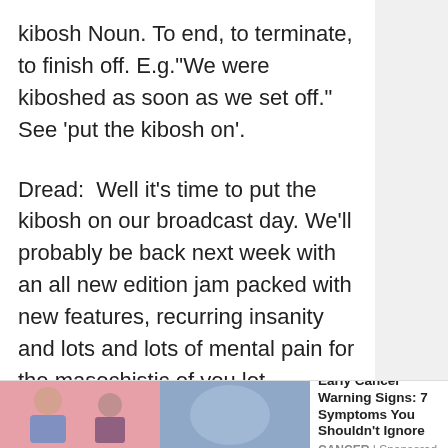kibosh Noun. To end, to terminate, to finish off. E.g."We were kiboshed as soon as we set off." See 'put the kibosh on'.
Dread:  Well it's time to put the kibosh on our broadcast day. We'll probably be back next week with an all new edition jam packed with new features, recurring insanity and lots and lots of mental pain for the masochistic of you lot.
Smee: If they got this far they must be into pain in the worst way.
Dread:  Ciao.
[Figure (illustration): Advertisement banner showing illustration of people and text 'Early Cancer Warning Signs: 7 Symptoms You Shouldn't Ignore' with source 'CANCER | Sponsored']